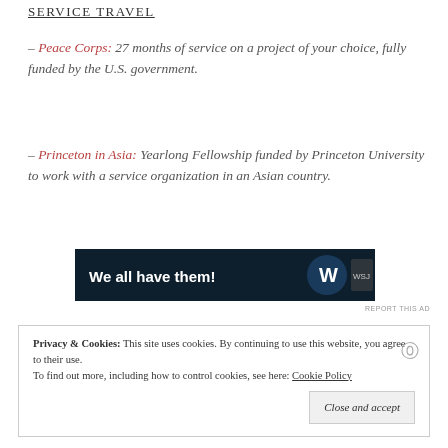SERVICE TRAVEL
– Peace Corps: 27 months of service on a project of your choice, fully funded by the U.S. government.
– Princeton in Asia: Yearlong Fellowship funded by Princeton University to work with a service organization in an Asian country.
[Figure (screenshot): Dark navy advertisement banner with white bold text 'We all have them!' and a circular logo on the right side.]
REPORT THIS AD
Privacy & Cookies:  This site uses cookies. By continuing to use this website, you agree to their use.
To find out more, including how to control cookies, see here: Cookie Policy
Close and accept